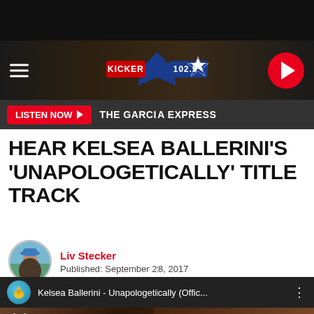[Figure (screenshot): Kicker 102.5 radio station website header with hamburger menu, logo, and play button]
LISTEN NOW ▶  THE GARCIA EXPRESS
HEAR KELSEA BALLERINI'S 'UNAPOLOGETICALLY' TITLE TRACK
Liv Stecker
Published: September 28, 2017
[Figure (screenshot): YouTube video thumbnail for Kelsea Ballerini - Unapologetically (Offic... with channel icon and three-dot menu]